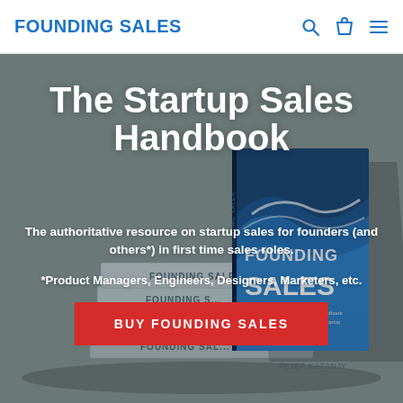FOUNDING SALES
[Figure (photo): Stack of 'Founding Sales' books with one book standing upright showing ocean wave cover design, against a grey background. The book cover features large bold text 'FOUNDING SALES' over a wave photo, and author name Peter Kazanjy.]
The Startup Sales Handbook
The authoritative resource on startup sales for founders (and others*) in first time sales roles.
*Product Managers, Engineers, Designers, Marketers, etc.
BUY FOUNDING SALES